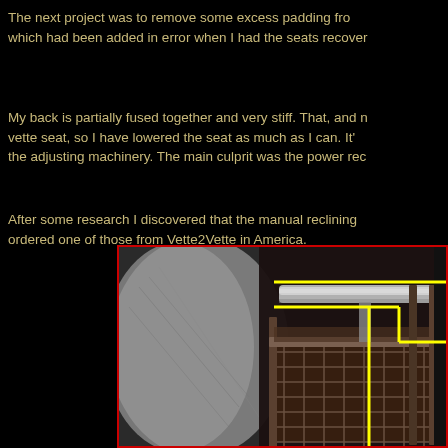The next project was to remove some excess padding from which had been added in error when I had the seats recover
My back is partially fused together and very stiff. That, and m vette seat, so I have lowered the seat as much as I can. It's the adjusting machinery. The main culprit was the power rec
After some research I discovered that the manual reclining ordered one of those from Vette2Vette in America.
[Figure (photo): Close-up photo of a car seat mechanism/frame showing metal springs, rods and seat components. Yellow lines are drawn on the image to highlight specific mechanical parts including a horizontal rod at the top and a U-shaped component on the right side. The seat frame shows a grid of springs and rusted metal components.]